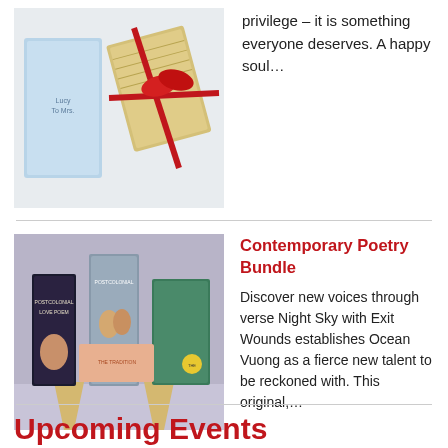[Figure (photo): Photo of two books and a gift wrapped with a red ribbon on a light background]
privilege – it is something everyone deserves. A happy soul…
[Figure (photo): Photo of multiple poetry books displayed on small wooden stands against a purple-grey background]
Contemporary Poetry Bundle
Discover new voices through verse Night Sky with Exit Wounds establishes Ocean Vuong as a fierce new talent to be reckoned with. This original,…
Upcoming Events